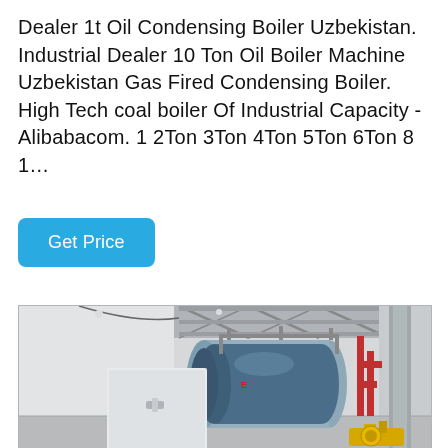Dealer 1t Oil Condensing Boiler Uzbekistan. Industrial Dealer 10 Ton Oil Boiler Machine Uzbekistan Gas Fired Condensing Boiler. High Tech coal boiler Of Industrial Capacity - Alibabacom. 1 2Ton 3Ton 4Ton 5Ton 6Ton 8 1…
Get Price
[Figure (photo): Industrial boiler installation in a factory setting. A large horizontal cylindrical blue boiler with a white electrical control cabinet in front. Red piping runs along the right side. A yellow gas fitting is visible at the bottom right. Industrial ceiling with steel roof trusses visible.]